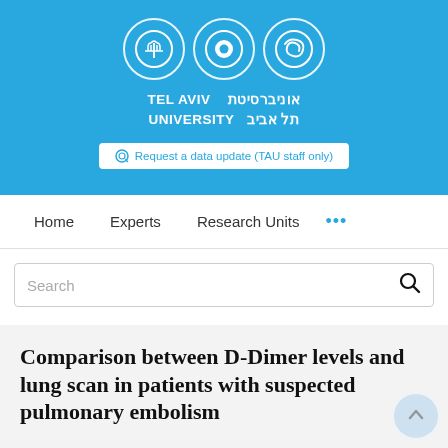[Figure (logo): Tel Aviv University logo with three white circle icons on blue background and university name in English and Hebrew]
Request a data update (TAU staff only)
Home   Experts   Research Units   ...
Search
Comparison between D-Dimer levels and lung scan in patients with suspected pulmonary embolism